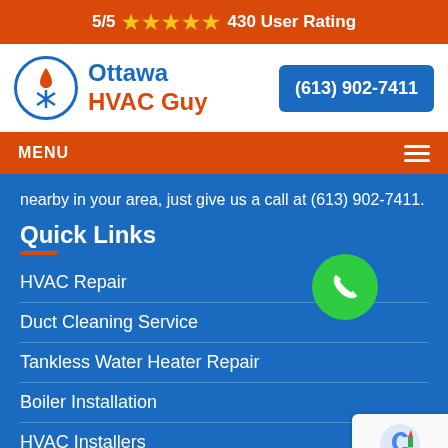5/5 ★★★★★ 430 User Rating
[Figure (logo): Ottawa HVAC Guy logo with blue and orange flame/snowflake circle icon]
(613) 902-7411
MENU
nearby in your area, just give us a call at (613) 902-7411.
Quick Links
HVAC Repair
Duct Cleaning Service
Tankless Water Heater Repair
Boiler Installation
HVAC Installers